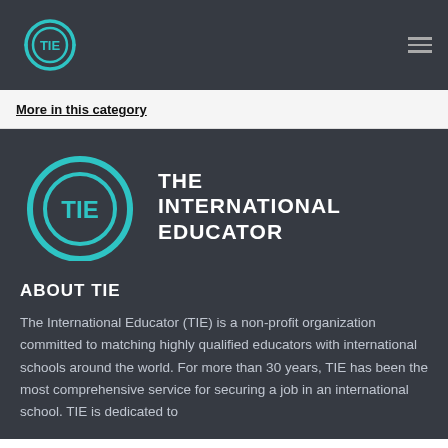TIE logo and navigation menu
More in this category
[Figure (logo): TIE - The International Educator logo with circular arc design and teal/cyan coloring with white text]
ABOUT TIE
The International Educator (TIE) is a non-profit organization committed to matching highly qualified educators with international schools around the world. For more than 30 years, TIE has been the most comprehensive service for securing a job in an international school. TIE is dedicated to